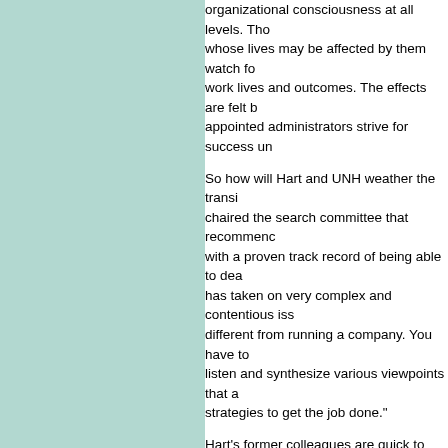organizational consciousness at all levels. Those whose lives may be affected by them watch for work lives and outcomes. The effects are felt b appointed administrators strive for success un
So how will Hart and UNH weather the transit chaired the search committee that recommendo with a proven track record of being able to dea has taken on very complex and contentious iss different from running a company. You have to listen and synthesize various viewpoints that a strategies to get the job done."
Hart's former colleagues are quick to agree th president of Claremont Graduate University, d the country." Other administrators there say sh accomplish in twice that time.
Page: 1 2 3 4 Next >
Easy to print version
Current issue | Past issues Department archives Advertise | About UNH
University of Ne 9 Edgewood Road